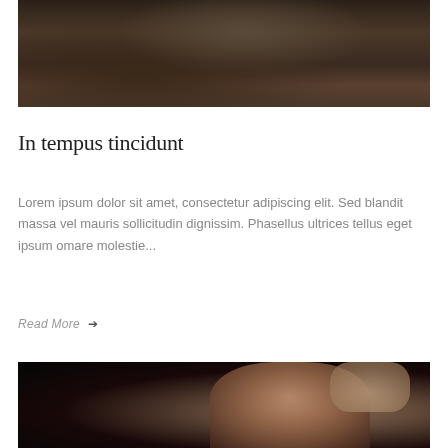[Figure (photo): Dark moody fashion photo of a person in dark clothing seated near a railing with a city skyline in the background]
In tempus tincidunt
Lorem ipsum dolor sit amet, consectetur adipiscing elit. Sed blandit massa vel mauris sollicitudin dignissim. Phasellus ultrices tellus eget ipsum omare molestie...
Read More →
[Figure (photo): Dark fashion photo with black background showing a woman with brown hair and someone's hand on her head]